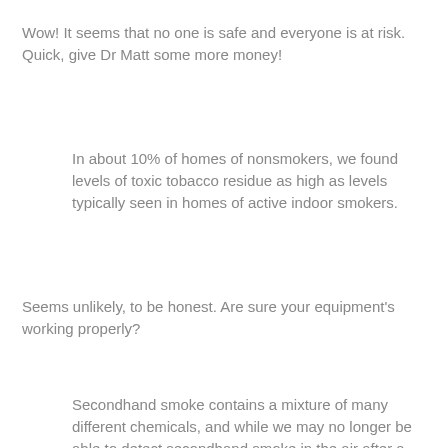Wow! It seems that no one is safe and everyone is at risk. Quick, give Dr Matt some more money!
In about 10% of homes of nonsmokers, we found levels of toxic tobacco residue as high as levels typically seen in homes of active indoor smokers.
Seems unlikely, to be honest. Are sure your equipment's working properly?
Secondhand smoke contains a mixture of many different chemicals, and while we may no longer be able to detect secondhand smoke in the air after a few hours, its toxic chemicals stick to and linger in carpets, furniture, walls and ventilation systems. Over weeks, months and years of repeated smoking, these chemicals can become embedded in materials and remain in these